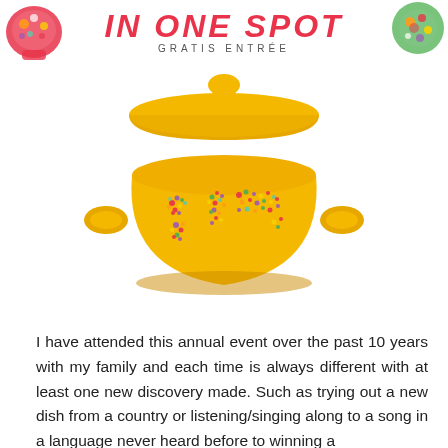IN ONE SPOT
GRATIS ENTREE
[Figure (illustration): A yellow ceramic cooking pot with a lid, decorated with a colorful world map made of small floral/dot patterns on the body of the pot.]
I have attended this annual event over the past 10 years with my family and each time is always different with at least one new discovery made. Such as trying out a new dish from a country or listening/singing along to a song in a language never heard before to winning a